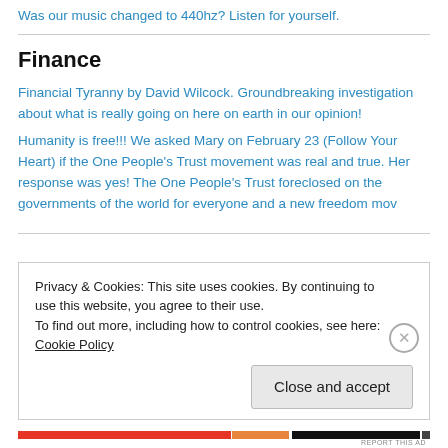Was our music changed to 440hz? Listen for yourself.
Finance
Financial Tyranny by David Wilcock. Groundbreaking investigation about what is really going on here on earth in our opinion!
Humanity is free!!! We asked Mary on February 23 (Follow Your Heart) if the One People's Trust movement was real and true. Her response was yes! The One People's Trust foreclosed on the governments of the world for everyone and a new freedom mov
Privacy & Cookies: This site uses cookies. By continuing to use this website, you agree to their use.
To find out more, including how to control cookies, see here: Cookie Policy
Close and accept